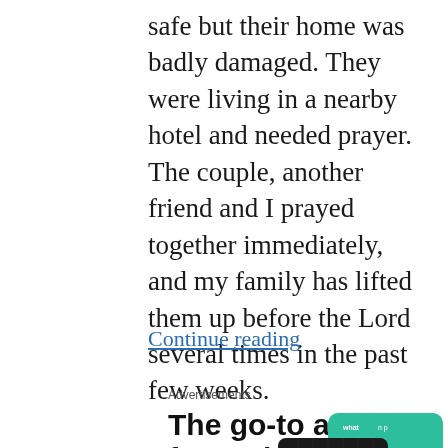safe but their home was badly damaged. They were living in a nearby hotel and needed prayer. The couple, another friend and I prayed together immediately, and my family has lifted them up before the Lord several times in the past few weeks.
Continue reading
Advertisements
[Figure (infographic): Advertisement for a podcast app. Text reads 'The go-to app for podcast lovers.' with 'Download now' in red, and a stylized image of app cards on the right.]